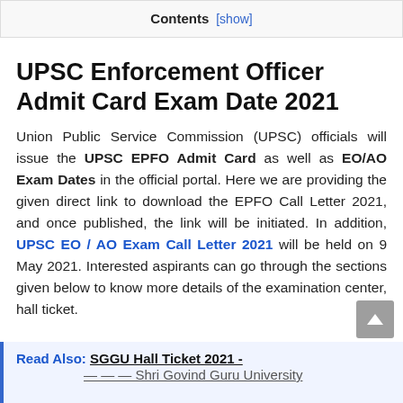Contents [show]
UPSC Enforcement Officer Admit Card Exam Date 2021
Union Public Service Commission (UPSC) officials will issue the UPSC EPFO Admit Card as well as EO/AO Exam Dates in the official portal. Here we are providing the given direct link to download the EPFO Call Letter 2021, and once published, the link will be initiated. In addition, UPSC EO / AO Exam Call Letter 2021 will be held on 9 May 2021. Interested aspirants can go through the sections given below to know more details of the examination center, hall ticket.
Read Also: SGGU Hall Ticket 2021 -